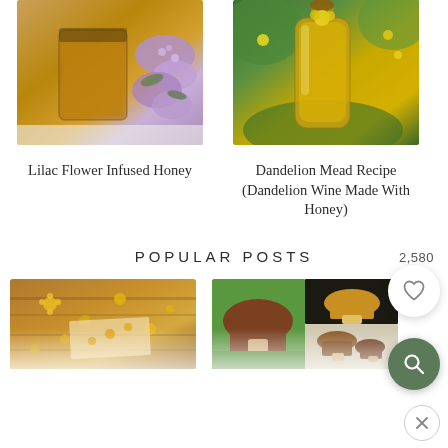[Figure (photo): A glass jar filled with honey and purple lilac flowers, with lilac blossoms beside it on a white surface]
[Figure (photo): A glass bottle filled with yellow dandelion mead/wine, with dandelion flowers on top, set outdoors in green vegetation]
Lilac Flower Infused Honey
Dandelion Mead Recipe (Dandelion Wine Made With Honey)
POPULAR POSTS
[Figure (photo): Dried yellow calendula flowers scattered on a wooden surface with a piece of cloth or paper]
[Figure (photo): Collage of mushroom photos showing brown porcini-type mushrooms in forest settings]